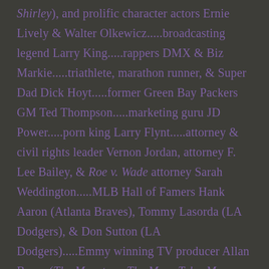Shirley), and prolific character actors Ernie Lively & Walter Olkewicz.....broadcasting legend Larry King.....rappers DMX & Biz Markie.....triathlete, marathon runner, & Super Dad Dick Hoyt.....former Green Bay Packers GM Ted Thompson.....marketing guru JD Power.....porn king Larry Flynt.....attorney & civil rights leader Vernon Jordan, attorney F. Lee Bailey, & Roe v. Wade attorney Sarah Weddington.....MLB Hall of Famers Hank Aaron (Atlanta Braves), Tommy Lasorda (LA Dodgers), & Don Sutton (LA Dodgers).....Emmy winning TV producer Allan Burns (The Munsters, The Mary Tyler Moore Show,